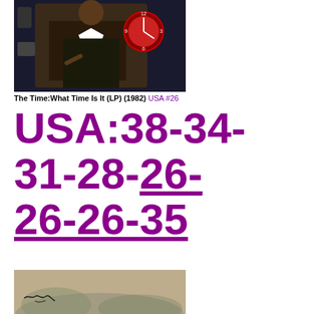[Figure (photo): Album cover photo of The Time: What Time Is It (LP) (1982), showing a performer in patterned jacket surrounded by clocks]
The Time:What Time Is It (LP) (1982) USA #26
USA:38-34-31-28-26-26-26-35
[Figure (photo): Partial photo at bottom of page showing a landscape or album art with a signature]